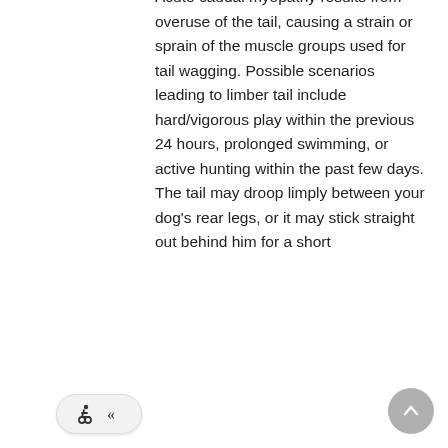points, called acupuncture points, where nerves and blood vessels converge. It is often used to treat dogs with arthritis and joint inflammation and may reduce the amount of medication a dog needs for these conditions. This handout explains how the treatment works and what to expect when your pet sees a veterinary acupuncturist.
Acute Caudal Myopathy (Limber Tail)
Acute caudal myopathy results from overuse of the tail, causing a strain or sprain of the muscle groups used for tail wagging. Possible scenarios leading to limber tail include hard/vigorous play within the previous 24 hours, prolonged swimming, or active hunting within the past few days. The tail may droop limply between your dog's rear legs, or it may stick straight out behind him for a short